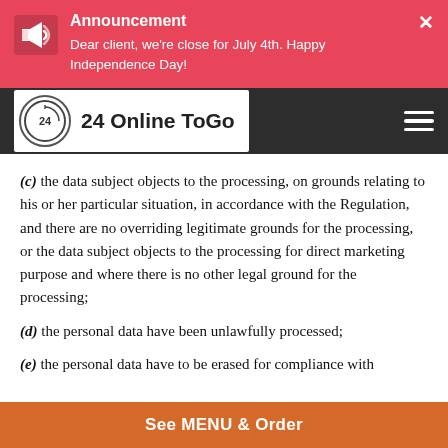Announcement – Dear client, we're close for July 4th. Happy Independence Day!
[Figure (logo): 24 Online ToGo logo with circular clock icon and bold text]
(c) the data subject objects to the processing, on grounds relating to his or her particular situation, in accordance with the Regulation, and there are no overriding legitimate grounds for the processing, or the data subject objects to the processing for direct marketing purpose and where there is no other legal ground for the processing;
(d) the personal data have been unlawfully processed;
(e) the personal data have to be erased for compliance with
See MENU & Order